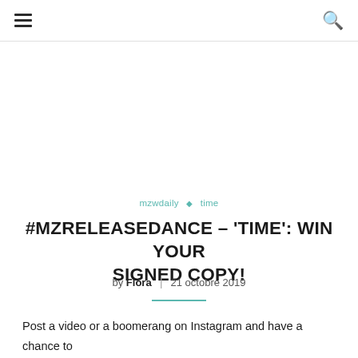≡  🔍
mzwdaily ◇ time
#MZRELEASEDANCE – 'TIME': WIN YOUR SIGNED COPY!
by Flora | 21 octobre 2019
Post a video or a boomerang on Instagram and have a chance to win a signed edition of TIME, Måns' new album. Follow @mzwdaily @manszelmerlow, frenchmanster and